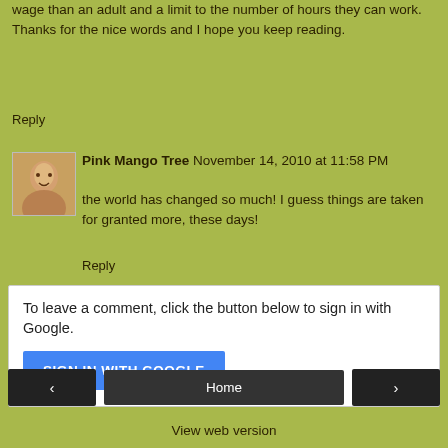wage than an adult and a limit to the number of hours they can work. Thanks for the nice words and I hope you keep reading.
Reply
Pink Mango Tree November 14, 2010 at 11:58 PM
the world has changed so much! I guess things are taken for granted more, these days!
Reply
To leave a comment, click the button below to sign in with Google.
SIGN IN WITH GOOGLE
Home
View web version